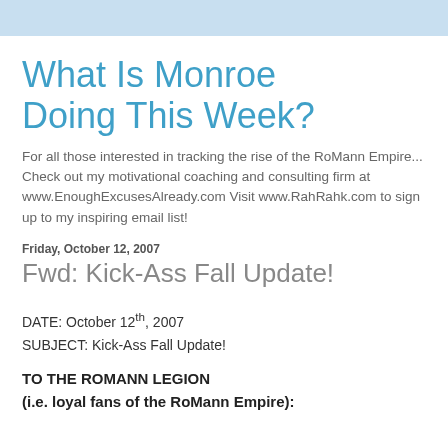What Is Monroe Doing This Week?
For all those interested in tracking the rise of the RoMann Empire... Check out my motivational coaching and consulting firm at www.EnoughExcusesAlready.com Visit www.RahRahk.com to sign up to my inspiring email list!
Friday, October 12, 2007
Fwd: Kick-Ass Fall Update!
DATE: October 12th, 2007
SUBJECT: Kick-Ass Fall Update!
TO THE ROMANN LEGION
(i.e. loyal fans of the RoMann Empire):